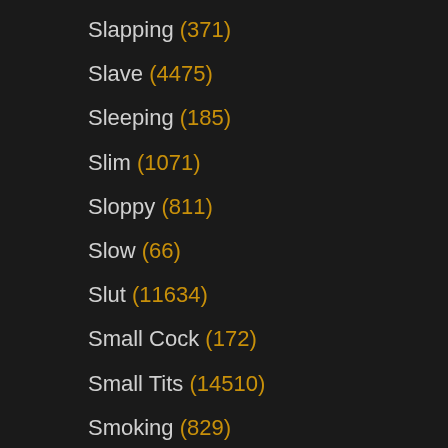Slapping (371)
Slave (4475)
Sleeping (185)
Slim (1071)
Sloppy (811)
Slow (66)
Slut (11634)
Small Cock (172)
Small Tits (14510)
Smoking (829)
Smooth (121)
Smothering (164)
Snatch (175)
Snowballing (79)
Soapy (96)
Soccer (104)